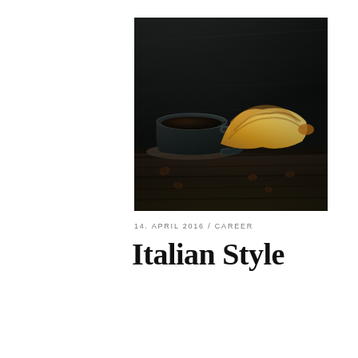[Figure (photo): A dark moody still life photograph of a glass cup of black coffee next to a golden croissant on a dark wooden table with scattered coffee beans, against a dark textured background.]
14. APRIL 2016 / CAREER
Italian Style